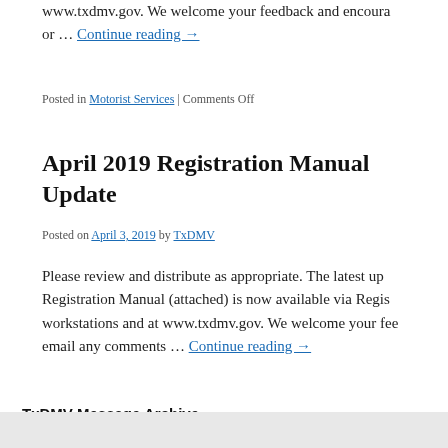www.txdmv.gov. We welcome your feedback and encoura… or … Continue reading →
Posted in Motorist Services | Comments Off
April 2019 Registration Manual Update
Posted on April 3, 2019 by TxDMV
Please review and distribute as appropriate. The latest up… Registration Manual (attached) is now available via Regis… workstations and at www.txdmv.gov. We welcome your fee… email any comments … Continue reading →
Posted in Dealers and Manufacturers | Comments Off
TxDMV Message Archive